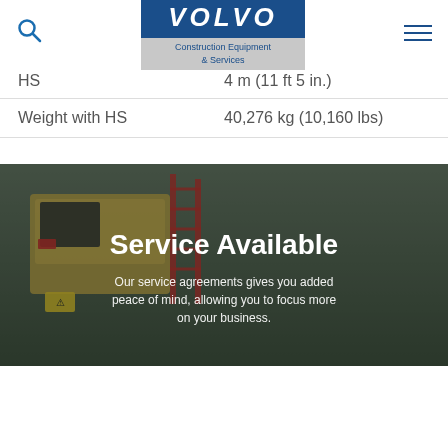Volvo Construction Equipment & Services
| HS | 4 m (11 ft 5 in.) |
| Weight with HS | 40,276 kg (10,160 lbs) |
[Figure (photo): Volvo construction equipment machinery shown in background with dark overlay]
Service Available
Our service agreements gives you added peace of mind, allowing you to focus more on your business.